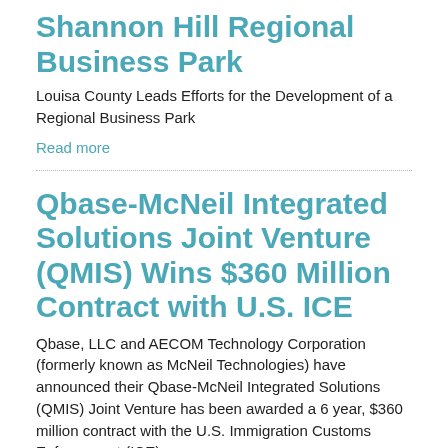Shannon Hill Regional Business Park
Louisa County Leads Efforts for the Development of a Regional Business Park
Read more
Qbase-McNeil Integrated Solutions Joint Venture (QMIS) Wins $360 Million Contract with U.S. ICE
Qbase, LLC and AECOM Technology Corporation (formerly known as McNeil Technologies) have announced their Qbase-McNeil Integrated Solutions (QMIS) Joint Venture has been awarded a 6 year, $360 million contract with the U.S. Immigration Customs Enforcement (ICE) agency.